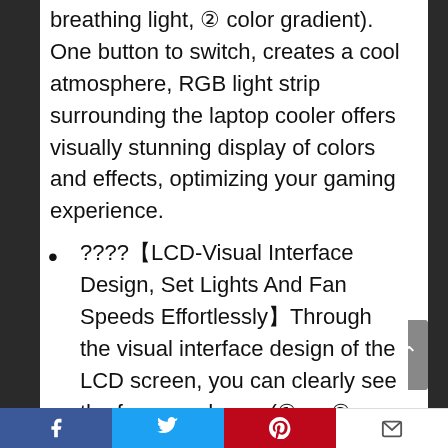breathing light, ② color gradient). One button to switch, creates a cool atmosphere, RGB light strip surrounding the laptop cooler offers visually stunning display of colors and effects, optimizing your gaming experience.
????【LCD-Visual Interface Design, Set Lights And Fan Speeds Effortlessly】Through the visual interface design of the LCD screen, you can clearly see the fan speed gear (① → ② → ③ → ④ → ⑤ → MAX, the fan speed increases in sequence), and the RGB light mode.